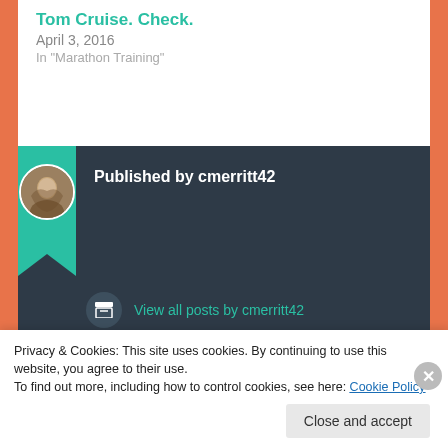Tom Cruise. Check.
April 3, 2016
In "Marathon Training"
Published by cmerritt42
View all posts by cmerritt42
March 16, 2019
Privacy & Cookies: This site uses cookies. By continuing to use this website, you agree to their use.
To find out more, including how to control cookies, see here: Cookie Policy
Close and accept